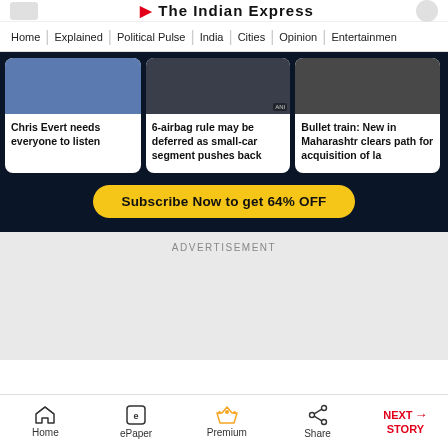The Indian Express
Home | Explained | Political Pulse | India | Cities | Opinion | Entertainment
[Figure (screenshot): News article card: Chris Evert needs everyone to listen, with blue sports image]
[Figure (screenshot): News article card: 6-airbag rule may be deferred as small-car segment pushes back, with dark aerial image]
[Figure (screenshot): News article card: Bullet train: New in Maharashtra clears path for acquisition of la..., with dark image]
Subscribe Now to get 64% OFF
ADVERTISEMENT
Home | ePaper | Premium | Share | NEXT STORY